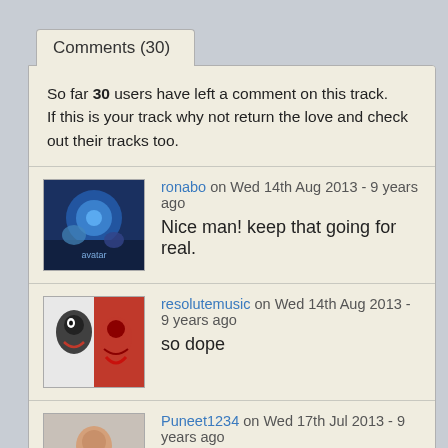Comments (30)
So far 30 users have left a comment on this track. If this is your track why not return the love and check out their tracks too.
ronabo on Wed 14th Aug 2013 - 9 years ago
Nice man! keep that going for real.
resolutemusic on Wed 14th Aug 2013 - 9 years ago
so dope
Puneet1234 on Wed 17th Jul 2013 - 9 years ago
Good one